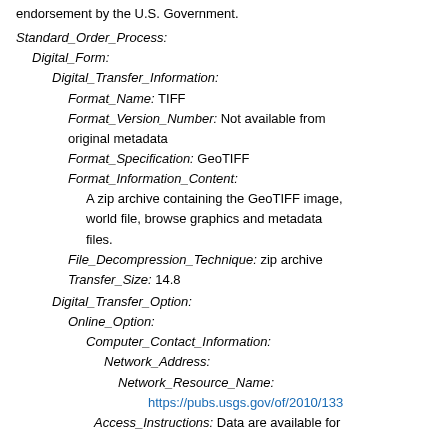endorsement by the U.S. Government.
Standard_Order_Process:
Digital_Form:
Digital_Transfer_Information:
Format_Name: TIFF
Format_Version_Number: Not available from original metadata
Format_Specification: GeoTIFF
Format_Information_Content:
A zip archive containing the GeoTIFF image, world file, browse graphics and metadata files.
File_Decompression_Technique: zip archive
Transfer_Size: 14.8
Digital_Transfer_Option:
Online_Option:
Computer_Contact_Information:
Network_Address:
Network_Resource_Name:
https://pubs.usgs.gov/of/2010/133
Access_Instructions: Data are available for